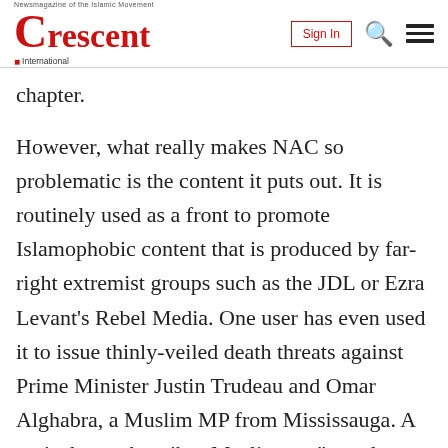Crescent International | Sign In
chapter.
However, what really makes NAC so problematic is the content it puts out. It is routinely used as a front to promote Islamophobic content that is produced by far-right extremist groups such as the JDL or Ezra Levant’s Rebel Media. One user has even used it to issue thinly-veiled death threats against Prime Minister Justin Trudeau and Omar Alghabra, a Muslim MP from Mississauga. A typical post describes Muslims as “a useless, diseased race of subhumans who are bent on destroying Western